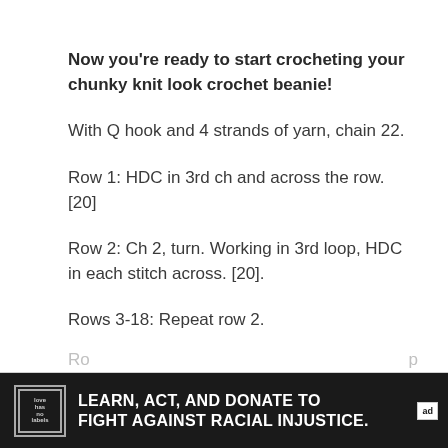Now you're ready to start crocheting your chunky knit look crochet beanie!
With Q hook and 4 strands of yarn, chain 22.
Row 1: HDC in 3rd ch and across the row. [20]
Row 2: Ch 2, turn. Working in 3rd loop, HDC in each stitch across. [20].
Rows 3-18: Repeat row 2.
[Figure (infographic): Black advertisement banner: love has no labels logo on left, text 'LEARN, ACT, AND DONATE TO FIGHT AGAINST RACIAL INJUSTICE.' in white bold uppercase, ad badge on right.]